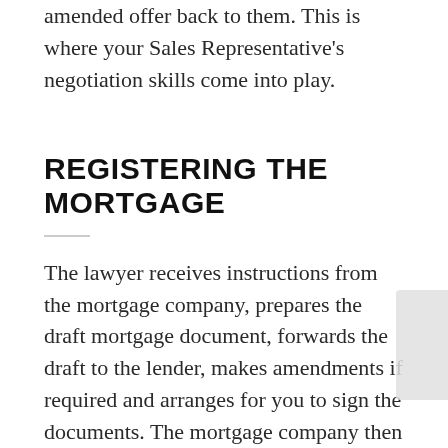amended offer back to them. This is where your Sales Representative's negotiation skills come into play.
REGISTERING THE MORTGAGE
The lawyer receives instructions from the mortgage company, prepares the draft mortgage document, forwards the draft to the lender, makes amendments if required and arranges for you to sign the documents. The mortgage company then releases